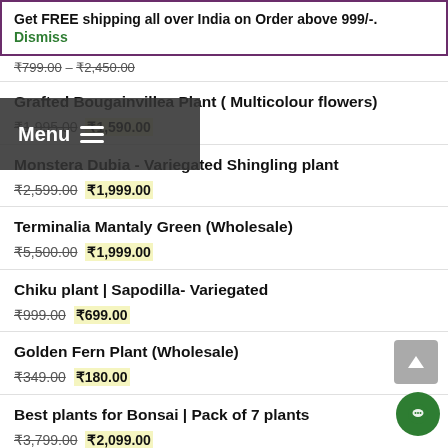Get FREE shipping all over India on Order above 999/-. Dismiss
₹799.00 – ₹2,450.00
Grafted Bougainvillea Plant ( Multicolour flowers)
₹1,995.00  ₹1,590.00
Monstera Dubia - Variegated Shingling plant
₹2,599.00  ₹1,999.00
Terminalia Mantaly Green (Wholesale)
₹5,500.00  ₹1,999.00
Chiku plant | Sapodilla- Variegated
₹999.00  ₹699.00
Golden Fern Plant (Wholesale)
₹349.00  ₹180.00
Best plants for Bonsai | Pack of 7 plants
₹3,799.00  ₹2,099.00